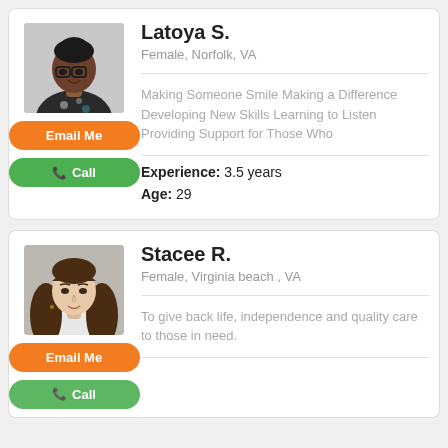[Figure (photo): Profile photo of Latoya S., a Black woman with glasses and a floral/patterned top]
Latoya S.
Female, Norfolk, VA
Making Someone Smile Making a Difference Developing New Skills Learning to Listen Providing Support for Those Who
Experience: 3.5 years
Age: 29
[Figure (photo): Profile photo of Stacee R., a young woman with long brown hair]
Stacee R.
Female, Virginia beach , VA
To give back life, independence and quality care to those in need.